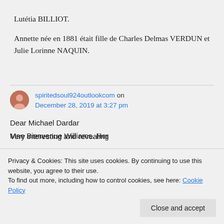Lutétia BILLIOT. Annette née en 1881 était fille de Charles Delmas VERDUN et Julie Lorinne NAQUIN.
spiritedsoul924outlookcom on December 28, 2019 at 3:27 pm
Dear Michael Dardar
Very interesting and revealing
Privacy & Cookies: This site uses cookies. By continuing to use this website, you agree to their use. To find out more, including how to control cookies, see here: Cookie Policy
Close and accept
Mae Bienvenue Williams. Her